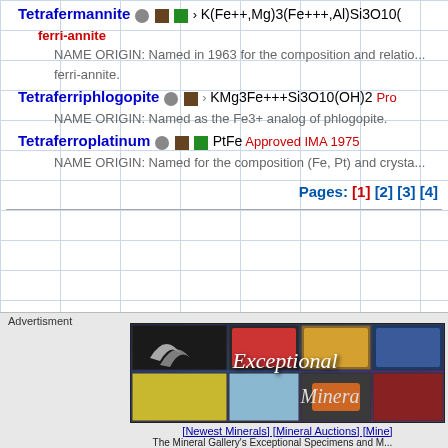Tetrafermannite K(Fe++,Mg)3(Fe+++,Al)Si3O10( ... ferri-annite NAME ORIGIN: Named in 1963 for the composition and relation to ferri-annite.
Tetraferriphlogopite KMg3Fe+++Si3O10(OH)2 Pro... NAME ORIGIN: Named as the Fe3+ analog of phlogopite.
Tetraferroplatinum PtFe Approved IMA 1975 NAME ORIGIN: Named for the composition (Fe, Pt) and crysta...
Pages: [1] [2] [3] [4]
[Figure (photo): Advertisement banner for Exceptional Minerals gallery showing various mineral specimens with links to Newest Minerals, Mineral Auctions, etc.]